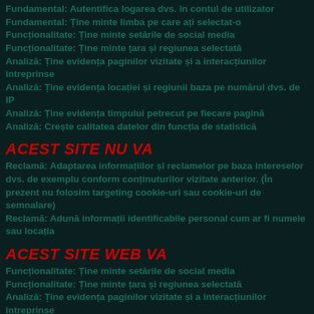Fundamental: Autentifica logarea dvs. în contul de utilizator
Fundamental: Ține minte limba pe care ați selectat-o
Funcționalitate: Ține minte setările de social media
Funcționalitate: Ține minte țara și regiunea selectată
Analiză: Ține evidența paginilor vizitate și a interacțiunilor întreprinse
Analiză: Ține evidența locației și regiunii baza pe numărul dvs. de IP
Analiză: Ține evidența timpului petrecut pe fiecare pagină
Analiză: Crește calitatea datelor din funcția de statistică
ACEST SITE NU VA
Reclamă: Adaptarea informațiilor și reclamelor pe baza intereselor dvs. de exemplu conform conținuturilor vizitate anterior. (În prezent nu folosim targeting cookie-uri sau cookie-uri de semnalare)
Reclamă: Adună informații identificabile personal cum ar fi numele sau locația
ACEST SITE WEB VA
Funcționalitate: Ține minte setările de social media
Funcționalitate: Ține minte țara și regiunea selectată
Analiză: Ține evidența paginilor vizitate și a interacțiunilor întreprinse